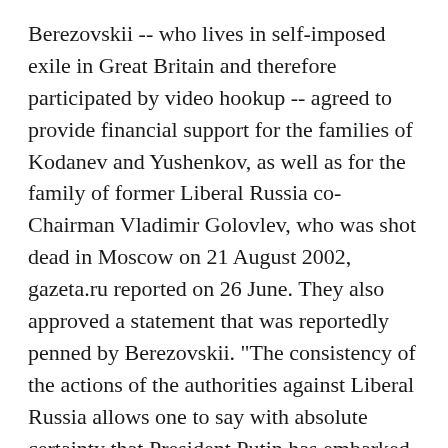Berezovskii -- who lives in self-imposed exile in Great Britain and therefore participated by video hookup -- agreed to provide financial support for the families of Kodanev and Yushenkov, as well as for the family of former Liberal Russia co-Chairman Vladimir Golovlev, who was shot dead in Moscow on 21 August 2002, gazeta.ru reported on 26 June. They also approved a statement that was reportedly penned by Berezovskii. "The consistency of the actions of the authorities against Liberal Russia allows one to say with absolute certainty that President Putin has embarked on the path of physical elimination of opponents of the regime," the statement said. "Mr. Putin and others of your ilk! Come to your senses. It's 2003, not 1937. And for Chechnya, for destroying democracy in the new Russia, and for the murder and persecution of our comrades you will soon be made to answer." JB